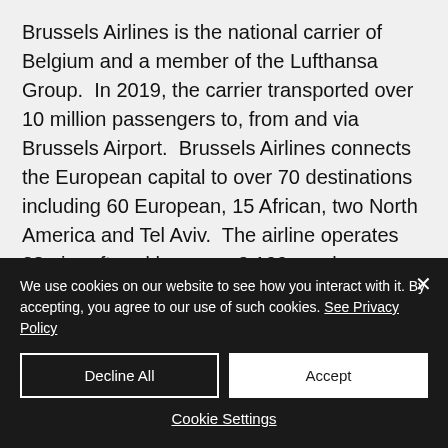Brussels Airlines is the national carrier of Belgium and a member of the Lufthansa Group.  In 2019, the carrier transported over 10 million passengers to, from and via Brussels Airport.  Brussels Airlines connects the European capital to over 70 destinations including 60 European, 15 African, two North America and Tel Aviv.  The airline operates 38 aircraft and has over 3,100 employees, supporting over 40,000 direct and...
We use cookies on our website to see how you interact with it. By accepting, you agree to our use of such cookies. See Privacy Policy
Decline All
Accept
Cookie Settings